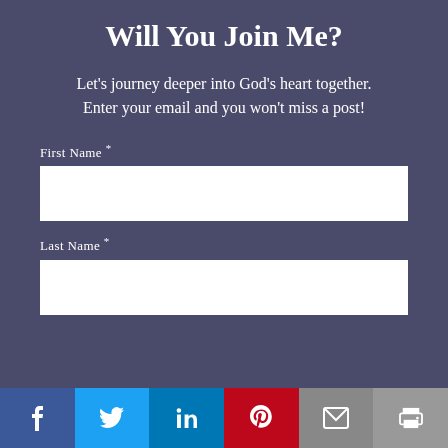Will You Join Me?
Let's journey deeper into God's heart together. Enter your email and you won't miss a post!
First Name *
Last Name *